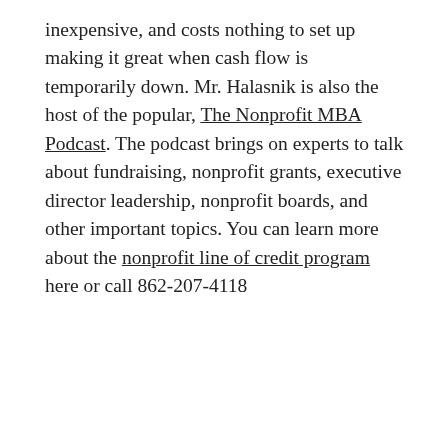inexpensive, and costs nothing to set up making it great when cash flow is temporarily down. Mr. Halasnik is also the host of the popular, The Nonprofit MBA Podcast. The podcast brings on experts to talk about fundraising, nonprofit grants, executive director leadership, nonprofit boards, and other important topics. You can learn more about the nonprofit line of credit program here or call 862-207-4118
[Figure (infographic): Social share icons row: Facebook, Twitter, LinkedIn, link/chain icon]
[Figure (infographic): Post stats row: eye/views icon with count 13, comment icon, heart/like icon. Footer bar with phone icon (green), email icon (pink/magenta), Facebook icon (blue).]